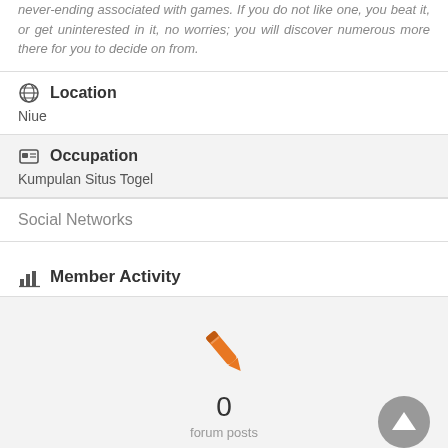never-ending associated with games. If you do not like one, you beat it, or get uninterested in it, no worries; you will discover numerous more there for you to decide on from.
Location
Niue
Occupation
Kumpulan Situs Togel
Social Networks
Member Activity
0 forum posts